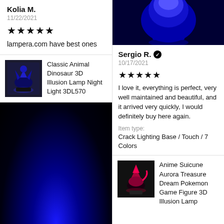Kolia M.
11/22/2021
★★★★★
lampera.com have best ones
[Figure (photo): 3D illusion dinosaur lamp glowing blue]
Classic Animal Dinosaur 3D Illusion Lamp Night Light 3DL570
[Figure (photo): Dark image with blue glowing light at bottom]
[Figure (photo): Blue glowing lamp on dark background, top portion]
Sergio R. ✓
10/17/2021
★★★★★
I love it, everything is perfect, very well maintained and beautiful, and it arrived very quickly, I would definitely buy here again.
Item type:
Crack Lighting Base / Touch / 7 Colors
[Figure (photo): Anime Suicune Aurora Treasure Dream Pokemon lamp glowing pink/red]
Anime Suicune Aurora Treasure Dream Pokemon Game Figure 3D Illusion Lamp